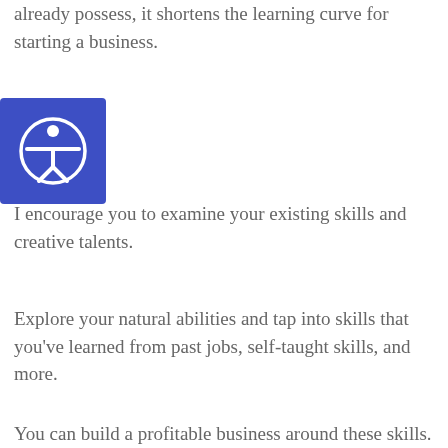already possess, it shortens the learning curve for starting a business.
[Figure (illustration): Accessibility icon: a blue square with a white person with outstretched arms inside a circle]
I encourage you to examine your existing skills and creative talents.
Explore your natural abilities and tap into skills that you've learned from past jobs, self-taught skills, and more.
You can build a profitable business around these skills.